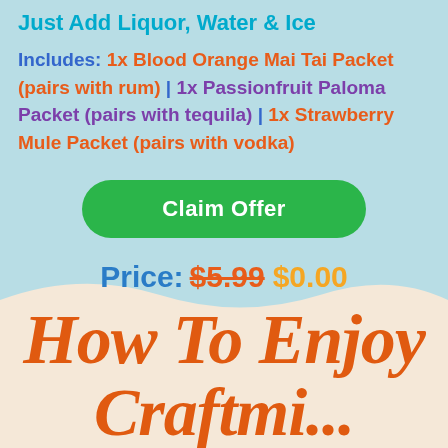Just Add Liquor, Water & Ice
Includes: 1x Blood Orange Mai Tai Packet (pairs with rum) | 1x Passionfruit Paloma Packet (pairs with tequila) | 1x Strawberry Mule Packet (pairs with vodka)
Claim Offer
Price: $5.99 $0.00
How To Enjoy Craftmi...